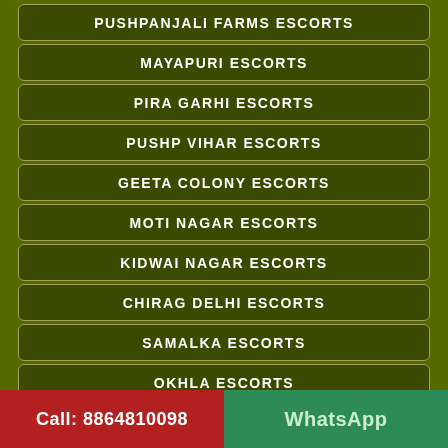PUSHPANJALI FARMS ESCORTS
MAYAPURI ESCORTS
PIRA GARHI ESCORTS
PUSHP VIHAR ESCORTS
GEETA COLONY ESCORTS
MOTI NAGAR ESCORTS
KIDWAI NAGAR ESCORTS
CHIRAG DELHI ESCORTS
SAMALKA ESCORTS
OKHLA ESCORTS
NARELA ESCORT
Call: 8864810098  WhatsApp